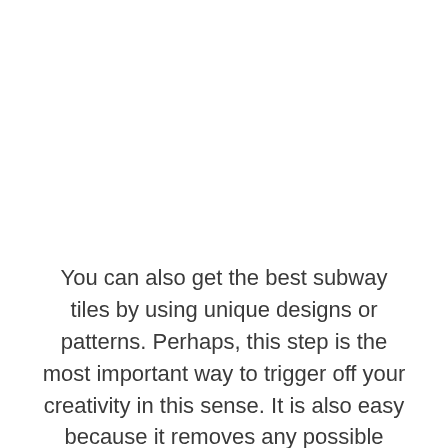You can also get the best subway tiles by using unique designs or patterns. Perhaps, this step is the most important way to trigger off your creativity in this sense. It is also easy because it removes any possible stress and makes the rest of the work very easy.